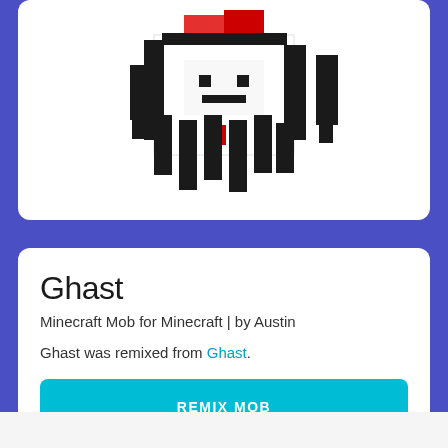[Figure (illustration): Minecraft Ghast mob 3D pixel art character - white blocky creature with black and red accents, shown from a slight angle]
Ghast
Minecraft Mob for Minecraft | by Austin
Ghast was remixed from Ghast.
REMIX MOB
1
281.6k